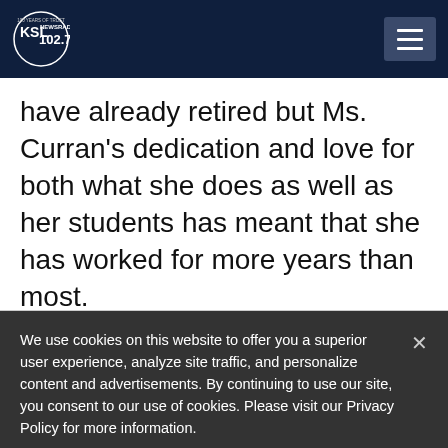KSL NewsRadio 102.7FM
have already retired but Ms. Curran's dedication and love for both what she does as well as her students has meant that she has worked for more years than most.
We use cookies on this website to offer you a superior user experience, analyze site traffic, and personalize content and advertisements. By continuing to use our site, you consent to our use of cookies. Please visit our Privacy Policy for more information.
Accept Cookies